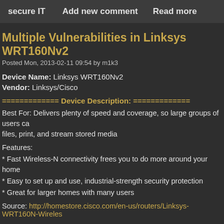secure IT   Add new comment   Read more
Multiple Vulnerabilities in Linksys WRT160Nv2
Posted Mon, 2013-02-11 09:54 by m1k3
Device Name: Linksys WRT160Nv2
Vendor: Linksys/Cisco
============= Device Description: =============
Best For: Delivers plenty of speed and coverage, so large groups of users ca files, print, and stream stored media
Features:
* Fast Wireless-N connectivity frees you to do more around your home
* Easy to set up and use, industrial-strength security protection
* Great for larger homes with many users
Source: http://homestore.cisco.com/en-us/routers/Linksys-WRT160N-Wireles
============= Vulnerable Firmware Releases: =============
Firmware Version: v2.0.03 build 009